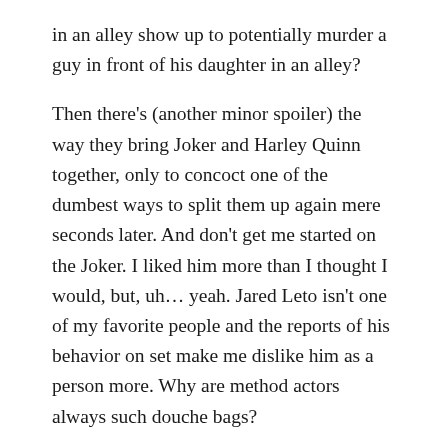in an alley show up to potentially murder a guy in front of his daughter in an alley? Then there's (another minor spoiler) the way they bring Joker and Harley Quinn together, only to concoct one of the dumbest ways to split them up again mere seconds later. And don't get me started on the Joker. I liked him more than I thought I would, but, uh… yeah. Jared Leto isn't one of my favorite people and the reports of his behavior on set make me dislike him as a person more. Why are method actors always such douche bags? So my least favorite thing about the movie? The studio billed it as this irreverent, Dirty Dozen-esque film about bad guys, but the characters aren't all that bad. Sure, you don't want to invite these guys to a dinner party or anything, but Batman probably caused more property damage and murdered more people in Dawn than the